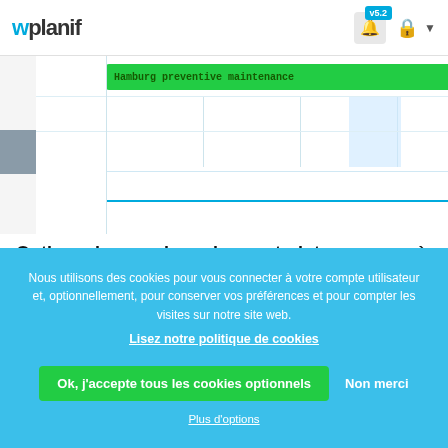wplanif v5.2
[Figure (screenshot): Gantt chart showing a green bar labeled 'Hamburg preventive maintenance' spanning the full row width, with a grid below and a highlighted blue column section.]
Optionnel : renseigner les contraintes propres à
Chaque parc éolien a également ses propres particularités contractuelle documenter certaines limites qui doivent être respectées quant aux pré
Par exemple, dans le site ci-bas, les contraintes indiquent qu'il est :
1. Interdit de planifier du travail lorsque la vitesse de vent à hauteur de
Nous utilisons des cookies pour vous connecter à votre compte utilisateur et, optionnellement, pour conserver vos préférences et pour compter les visites sur notre site web.
Lisez notre politique de cookies
Ok, j'accepte tous les cookies optionnels
Non merci
Plus d'options